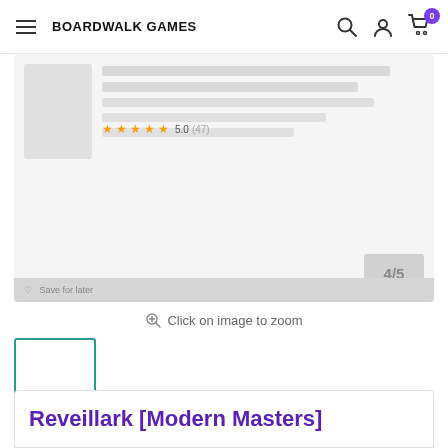BOARDWALK GAMES
[Figure (screenshot): Product image area showing a blurred/preview card image with text lines, rating, price box, and wishlist bar on a light grey background]
Click on image to zoom
[Figure (screenshot): Thumbnail image selector showing a single white card thumbnail with teal border]
Reveillark [Modern Masters]